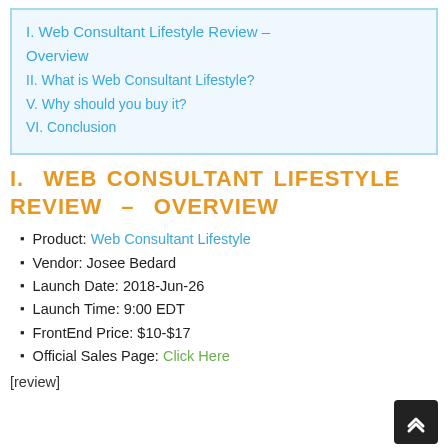I. Web Consultant Lifestyle Review – Overview
II. What is Web Consultant Lifestyle?
V. Why should you buy it?
VI. Conclusion
I. WEB CONSULTANT LIFESTYLE REVIEW – OVERVIEW
Product: Web Consultant Lifestyle
Vendor: Josee Bedard
Launch Date: 2018-Jun-26
Launch Time: 9:00 EDT
FrontEnd Price: $10-$17
Official Sales Page: Click Here
[review]